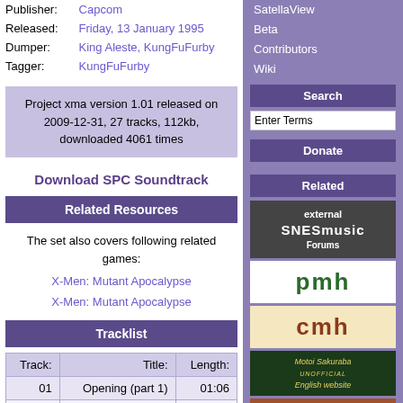| Publisher: | Capcom |
| Released: | Friday, 13 January 1995 |
| Dumper: | King Aleste, KungFuFurby |
| Tagger: | KungFuFurby |
Project xma version 1.01 released on 2009-12-31, 27 tracks, 112kb, downloaded 4061 times
Download SPC Soundtrack
Related Resources
The set also covers following related games:
X-Men: Mutant Apocalypse
X-Men: Mutant Apocalypse
Tracklist
| Track: | Title: | Length: |
| --- | --- | --- |
| 01 | Opening (part 1) | 01:06 |
| 02 | Opening (part 2) | 00:52 |
| 03 | Main Theme | 01:09 |
| 04 | Select Character | 00:30 |
SatellaView Beta Contributors Wiki
Search
Enter Terms
Donate
Related
[Figure (logo): external SNESmusicForums logo]
[Figure (logo): pmh logo]
[Figure (logo): cmh logo]
[Figure (logo): Motoi Sakuraba unofficial English website logo]
[Figure (logo): Last box partial logo]